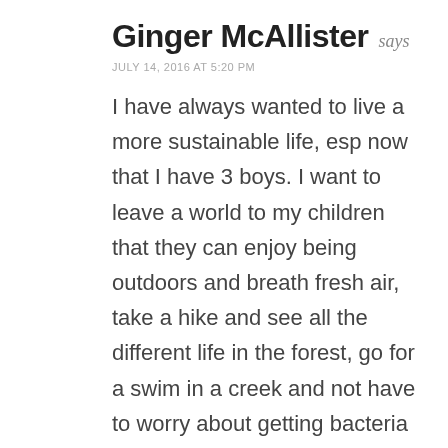Ginger McAllister says
JULY 14, 2016 AT 5:20 PM
I have always wanted to live a more sustainable life, esp now that I have 3 boys. I want to leave a world to my children that they can enjoy being outdoors and breath fresh air, take a hike and see all the different life in the forest, go for a swim in a creek and not have to worry about getting bacteria infections. I want to teach my kids to love the earth and take better care of it than the people before them.